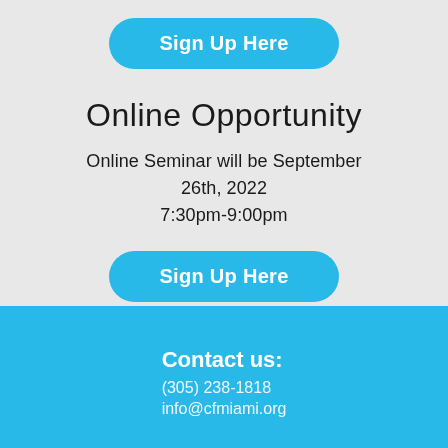[Figure (other): Blue rounded button labeled 'Sign Up Here']
Online Opportunity
Online Seminar will be September 26th, 2022
7:30pm-9:00pm
[Figure (other): Blue rounded button labeled 'Sign Up Here']
Contact us:
(305) 238-1818
info@cfmiami.org